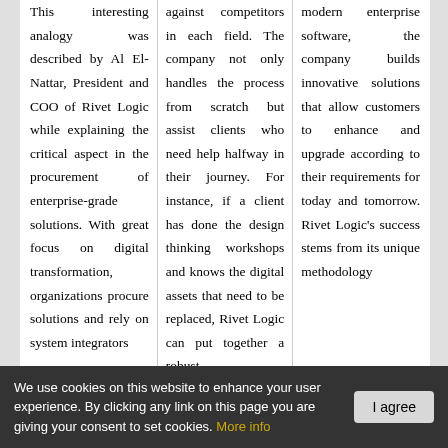This interesting analogy was described by Al El-Nattar, President and COO of Rivet Logic while explaining the critical aspect in the procurement of enterprise-grade solutions. With great focus on digital transformation, organizations procure solutions and rely on system integrators
against competitors in each field. The company not only handles the process from scratch but assist clients who need help halfway in their journey. For instance, if a client has done the design thinking workshops and knows the digital assets that need to be replaced, Rivet Logic can put together a robust
modern enterprise software, the company builds innovative solutions that allow customers to enhance and upgrade according to their requirements for today and tomorrow. Rivet Logic's success stems from its unique methodology
We use cookies on this website to enhance your user experience. By clicking any link on this page you are giving your consent to set cookies. More info